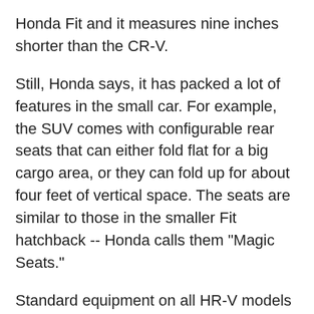Honda Fit and it measures nine inches shorter than the CR-V.
Still, Honda says, it has packed a lot of features in the small car. For example, the SUV comes with configurable rear seats that can either fold flat for a big cargo area, or they can fold up for about four feet of vertical space. The seats are similar to those in the smaller Fit hatchback -- Honda calls them "Magic Seats."
Standard equipment on all HR-V models will include power locks, windows and mirrors, cruise control, a back-up camera and Bluetooth connectivity. Upgraded models come with other creature comforts like heated leather seats, a sunroof, all-wheel-drive and a camera that displays the right-hand lane when the driver tries to shift lanes.